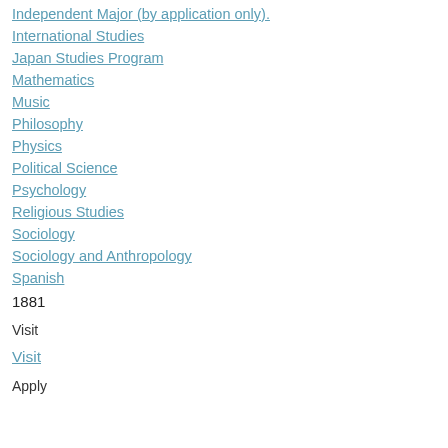Independent Major (by application only).
International Studies
Japan Studies Program
Mathematics
Music
Philosophy
Physics
Political Science
Psychology
Religious Studies
Sociology
Sociology and Anthropology
Spanish
1881
Visit
Visit
Apply